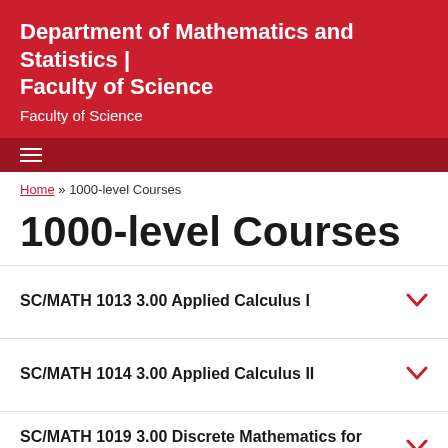Department of Mathematics and Statistics | Faculty of Science
Faculty of Science
Home » 1000-level Courses
1000-level Courses
SC/MATH 1013 3.00 Applied Calculus I
SC/MATH 1014 3.00 Applied Calculus II
SC/MATH 1019 3.00 Discrete Mathematics for Computer Science
SC/MATH 1021 3.00 Linear Algebra I